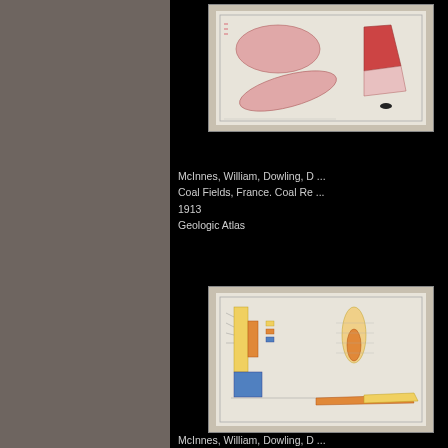[Figure (map): Geologic atlas map showing coal fields with pink/red shaded areas and a cross-section diagram, thumbnail view of a document page]
McInnes, William, Dowling, D ...
Coal Fields, France. Coal Re ...
1913
Geologic Atlas
[Figure (engineering-diagram): Geologic cross-section diagrams showing stratigraphic layers with colored geological formations, thumbnail view of a document page]
McInnes, William, Dowling, D ...